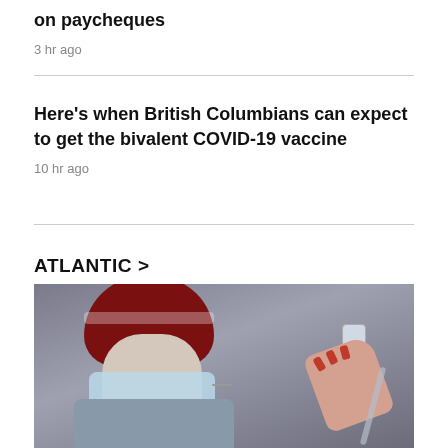on paycheques
3 hr ago
Here's when British Columbians can expect to get the bivalent COVID-19 vaccine
10 hr ago
ATLANTIC >
[Figure (photo): A person wearing a red hat and blue surgical mask holds a vaccine vial and syringe]